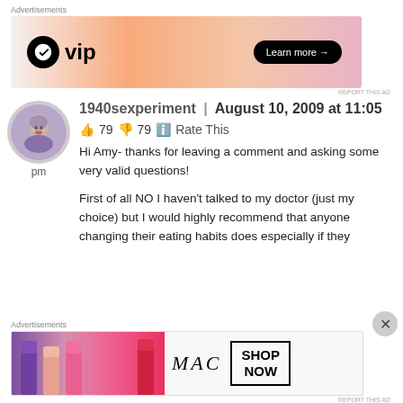Advertisements
[Figure (other): WordPress VIP advertisement banner with gradient background and Learn more button]
REPORT THIS AD
1940sexperiment | August 10, 2009 at 11:05 pm
👍 79 👎 79 ℹ Rate This
Hi Amy- thanks for leaving a comment and asking some very valid questions!

First of all NO I haven't talked to my doctor (just my choice) but I would highly recommend that anyone changing their eating habits does especially if they
Advertisements
[Figure (other): MAC cosmetics advertisement banner showing lipsticks and Shop Now button]